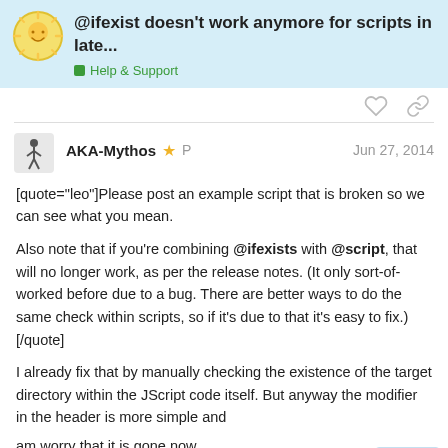@ifexist doesn't work anymore for scripts in late... | Help & Support
AKA-Mythos ★ P | Jun 27, 2014
[quote="leo"]Please post an example script that is broken so we can see what you mean.

Also note that if you're combining @ifexists with @script, that will no longer work, as per the release notes. (It only sort-of-worked before due to a bug. There are better ways to do the same check within scripts, so if it's due to that it's easy to fix.) [/quote]

I already fix that by manually checking the existence of the target directory within the JScript code itself. But anyway the modifier in the header is more simple and am worry that it is gone now.
1 / 4